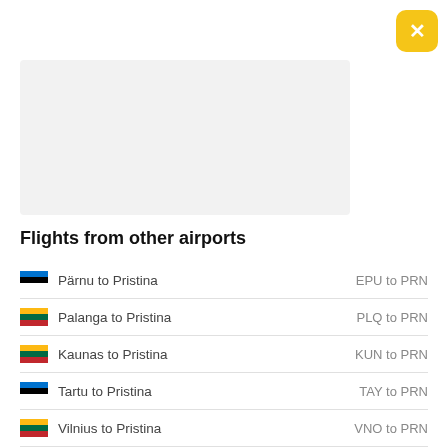[Figure (other): Close button - yellow/gold rounded square with white X]
[Figure (other): Gray placeholder rectangle]
Flights from other airports
Pärnu to Pristina  EPU to PRN
Palanga to Pristina  PLQ to PRN
Kaunas to Pristina  KUN to PRN
Tartu to Pristina  TAY to PRN
Vilnius to Pristina  VNO to PRN
Tallinn to Pristina  TLL to PRN